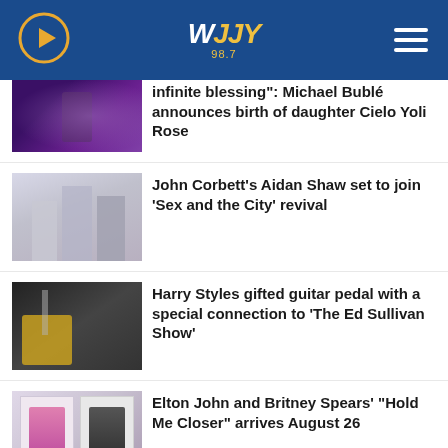WJJY 98.7
infinite blessing": Michael Bublé announces birth of daughter Cielo Yoli Rose
John Corbett's Aidan Shaw set to join 'Sex and the City' revival
Harry Styles gifted guitar pedal with a special connection to 'The Ed Sullivan Show'
Elton John and Britney Spears' "Hold Me Closer" arrives August 26